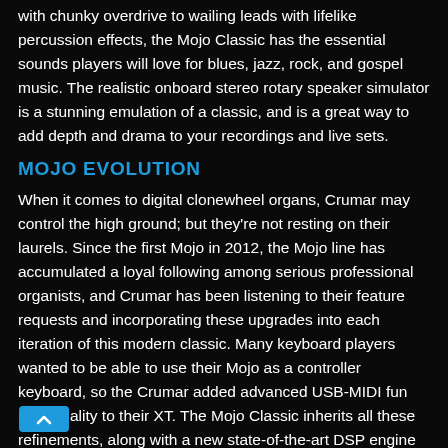with chunky overdrive to wailing leads with lifelike percussion effects, the Mojo Classic has the essential sounds players will love for blues, jazz, rock, and gospel music. The realistic onboard stereo rotary speaker simulator is a stunning emulation of a classic, and is a great way to add depth and drama to your recordings and live sets.
MOJO EVOLUTION
When it comes to digital clonewheel organs, Crumar may control the high ground; but they're not resting on their laurels. Since the first Mojo in 2012, the Mojo line has accumulated a loyal following among serious professional organists, and Crumar has been listening to their feature requests and incorporating these upgrades into each iteration of this modern classic. Many keyboard players wanted to be able to use their Mojo as a controller keyboard, so the Crumar added advanced USB-MIDI functionality to their XT. The Mojo Classic inherits all these refinements, along with a new state-of-the-art DSP engine hosting the next-